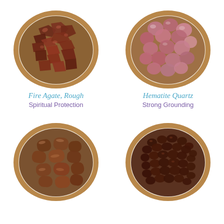[Figure (photo): Top-down view of a wooden bowl filled with rough dark reddish-brown Fire Agate stones]
[Figure (photo): Top-down view of a wooden bowl filled with smooth pinkish-red Hematite Quartz stones]
Fire Agate, Rough
Spiritual Protection
Hematite Quartz
Strong Grounding
[Figure (photo): Top-down view of a wooden bowl filled with tumbled brownish Tiger Eye stones]
[Figure (photo): Top-down view of a wooden bowl filled with small dark reddish-black oval stones]